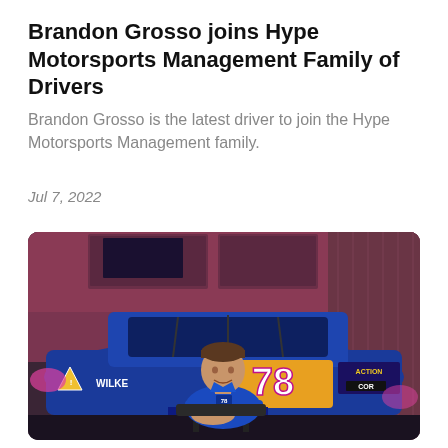Brandon Grosso joins Hype Motorsports Management Family of Drivers
Brandon Grosso is the latest driver to join the Hype Motorsports Management family.
Jul 7, 2022
[Figure (photo): Young man in blue polo shirt sitting in front of a blue dirt late model race car numbered 78, with WILKE and ACTION sponsorship logos visible, in an indoor garage setting with pink/purple lighting.]